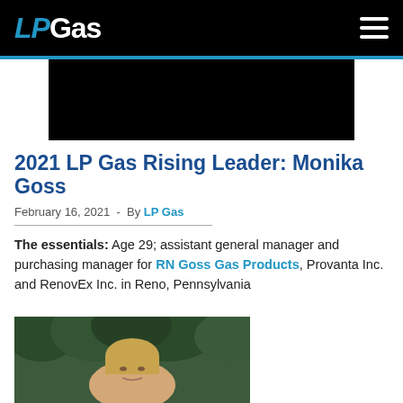LPGas
[Figure (other): Black advertisement banner rectangle]
2021 LP Gas Rising Leader: Monika Goss
February 16, 2021  -  By LP Gas
The essentials: Age 29; assistant general manager and purchasing manager for RN Goss Gas Products, Provanta Inc. and RenovEx Inc. in Reno, Pennsylvania
[Figure (photo): Portrait photo of Monika Goss, a young blonde woman, outdoors in front of evergreen trees]